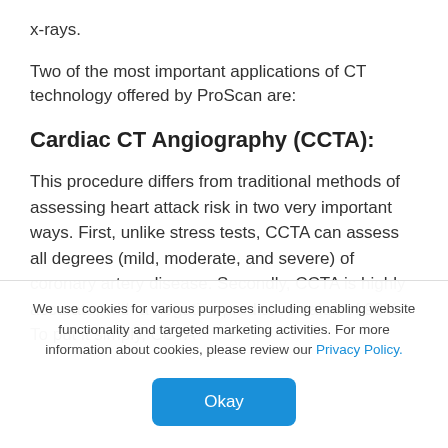x-rays.
Two of the most important applications of CT technology offered by ProScan are:
Cardiac CT Angiography (CCTA):
This procedure differs from traditional methods of assessing heart attack risk in two very important ways. First, unlike stress tests, CCTA can assess all degrees (mild, moderate, and severe) of coronary artery disease. Secondly, CCTA is highly accurate, with a negative predictive value of 99%. To put it simply, CCTA
We use cookies for various purposes including enabling website functionality and targeted marketing activities. For more information about cookies, please review our Privacy Policy.
Okay